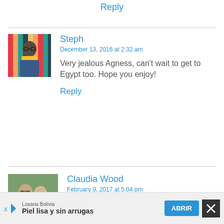Reply
[Figure (photo): Avatar photo of Steph - person with glasses and yellow scarf in front of colorful striped background]
Steph
December 13, 2016 at 2:32 am
Very jealous Agness, can't wait to get to Egypt too. Hope you enjoy!
Reply
[Figure (photo): Avatar photo of Claudia Wood - two older people wearing sunglasses outdoors]
Claudia Wood
February 9, 2017 at 5:04 pm
Losana Bolivia
Piel lisa y sin arrugas
ABRIR